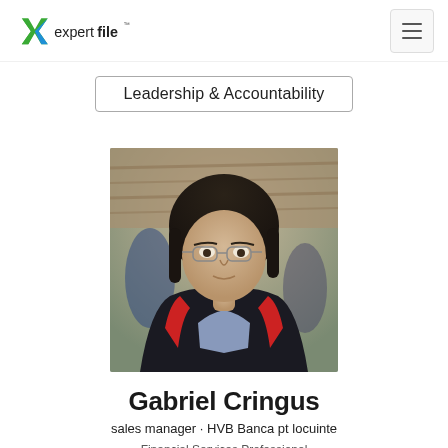expertfile™ [hamburger menu]
Leadership & Accountability
[Figure (photo): Headshot photo of Gabriel Cringus, a middle-aged man with long dark hair, wearing glasses and a dark jacket over a blue shirt, photographed outdoors with a thatched roof structure in the background]
Gabriel Cringus
sales manager · HVB Banca pt locuinte
Financial Services Professional